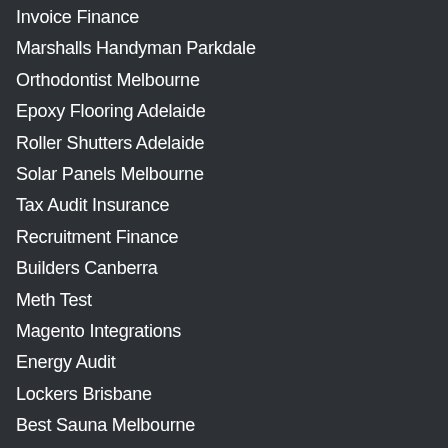Invoice Finance
Marshalls Handyman Parkdale
Orthodontist Melbourne
Epoxy Flooring Adelaide
Roller Shutters Adelaide
Solar Panels Melbourne
Tax Audit Insurance
Recruitment Finance
Builders Canberra
Meth Test
Magento Integrations
Energy Audit
Lockers Brisbane
Best Sauna Melbourne
Best Sauna Sydney
Floor Polishing Adelaide
Shopify Shipping Australia
Best Led Grow Lights
Commercial Led Lighting
Water Heat Pumps